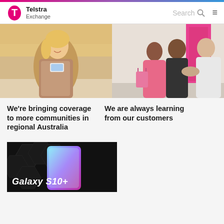Telstra Exchange
[Figure (photo): Young blonde woman smiling and looking at her smartphone, wearing a floral jacket, outdoors in a sunny urban setting]
[Figure (photo): Three people shaking hands in a business setting, a woman in a pink blazer with a shopping bag, and two men, one older in white shirt]
We're bringing coverage to more communities in regional Australia
We are always learning from our customers
[Figure (photo): Samsung Galaxy S10+ smartphone advertisement with dark hexagonal background and teal/purple gradient lighting on the phone. Text reads 'Galaxy S10+']